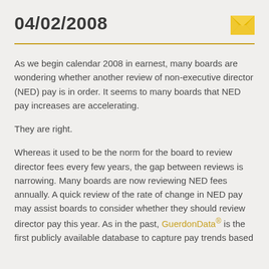04/02/2008
As we begin calendar 2008 in earnest, many boards are wondering whether another review of non-executive director (NED) pay is in order. It seems to many boards that NED pay increases are accelerating.
They are right.
Whereas it used to be the norm for the board to review director fees every few years, the gap between reviews is narrowing. Many boards are now reviewing NED fees annually. A quick review of the rate of change in NED pay may assist boards to consider whether they should review director pay this year. As in the past, GuerdonData® is the first publicly available database to capture pay trends based